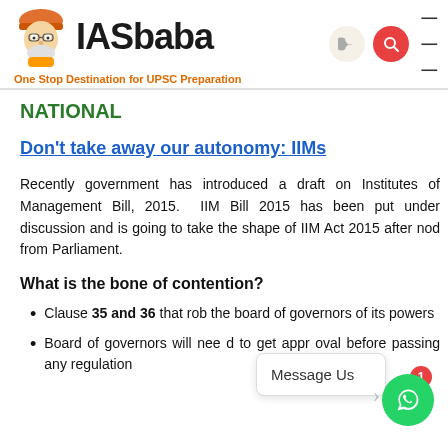IASbaba — One Stop Destination for UPSC Preparation
NATIONAL
Don't take away our autonomy: IIMs
Recently government has introduced a draft on Institutes of Management Bill, 2015. IIM Bill 2015 has been put under discussion and is going to take the shape of IIM Act 2015 after nod from Parliament.
What is the bone of contention?
Clause 35 and 36 that rob the board of governors of its powers
Board of governors will need to get approval before passing any regulation